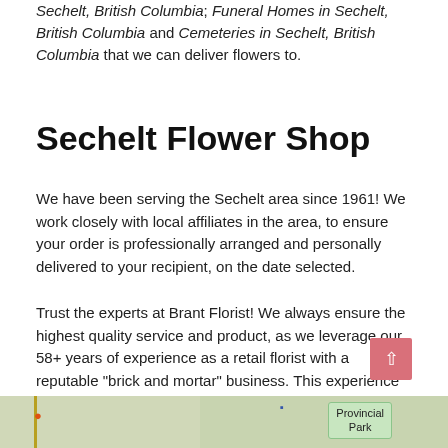Sechelt, British Columbia; Funeral Homes in Sechelt, British Columbia and Cemeteries in Sechelt, British Columbia that we can deliver flowers to.
Sechelt Flower Shop
We have been serving the Sechelt area since 1961! We work closely with local affiliates in the area, to ensure your order is professionally arranged and personally delivered to your recipient, on the date selected.
Trust the experts at Brant Florist! We always ensure the highest quality service and product, as we leverage our 58+ years of experience as a retail florist with a reputable "brick and mortar" business. This experience allows us to ensure the best service is provided by our local affiliates in Sechelt, British Columbia. 100% Satisfaction Guaranteed!
[Figure (map): Partial map strip showing a map of the Sechelt area with a Provincial Park label in green.]